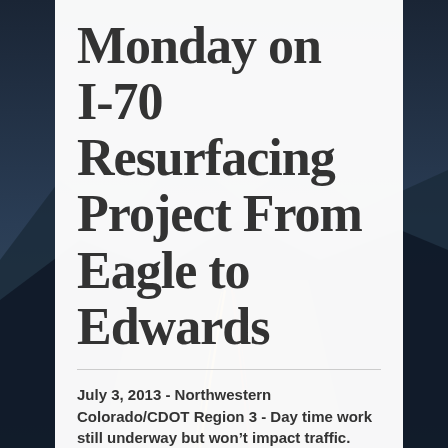[Figure (photo): Background photograph of a highway at dusk/night with mountains and light trails, dark blue-gray tones]
Monday on I-70 Resurfacing Project From Eagle to Edwards
July 3, 2013 - Northwestern Colorado/CDOT Region 3 - Day time work still underway but won't impact traffic.
EAGLE COUNTY— Work continues to progress on the Colorado Department of Transportation (CDOT) I-70 resurfacing project between mile post (MP) 147 and MP 164 (from Eagle to Edwards). Night work on the project will begin on the evening of Monday, July 8,